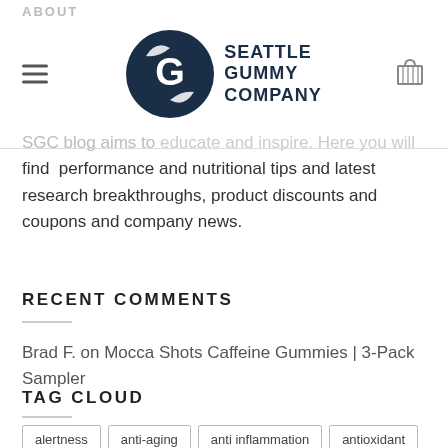ABOUT | Seattle Gummy Company
SGC blog aims to educate and inspire. Here you will find performance and nutritional tips and latest research breakthroughs, product discounts and coupons and company news.
RECENT COMMENTS
Brad F. on Mocca Shots Caffeine Gummies | 3-Pack Sampler
TAG CLOUD
alertness
anti-aging
anti inflammation
antioxidant
Benefits of Energon Qube
Benefits of Exercise
bloks